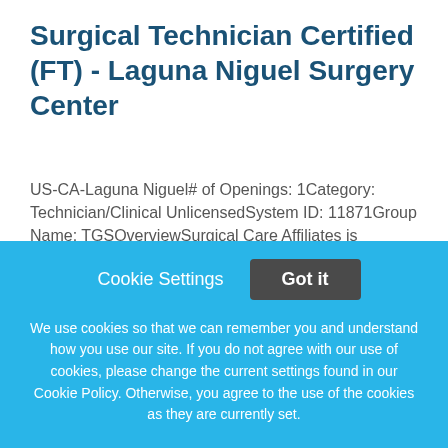Surgical Technician Certified (FT) - Laguna Niguel Surgery Center
US-CA-Laguna Niguel# of Openings: 1Category: Technician/Clinical UnlicensedSystem ID: 11871Group Name: TGSOverviewSurgical Care Affiliates is currently seeking a Certified Surgical Technician!Surgical Care
This job listing is no longer active.
Cookie Settings   Got it
We use cookies so that we can remember you and understand how you use our site. If you do not agree with our use of cookies, please change the current settings found in our Cookie Policy. Otherwise, you agree to the use of the cookies as they are currently set.